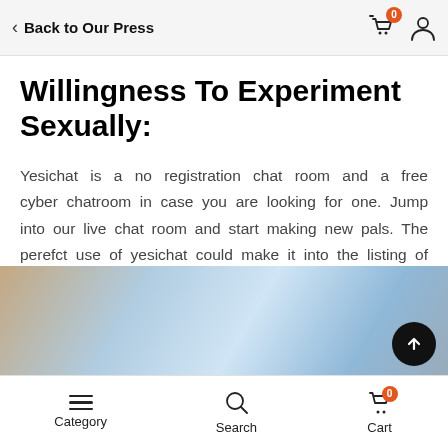Back to Our Press
Willingness To Experiment Sexually:
Yesichat is a no registration chat room and a free cyber chatroom in case you are looking for one. Jump into our live chat room and start making new pals. The perefct use of yesichat could make it into the listing of one of the best social chat rooms for you.
[Figure (photo): Partial image visible at the bottom of the page showing what appears to be fabric or bedding in blue tones]
Category  Search  Cart